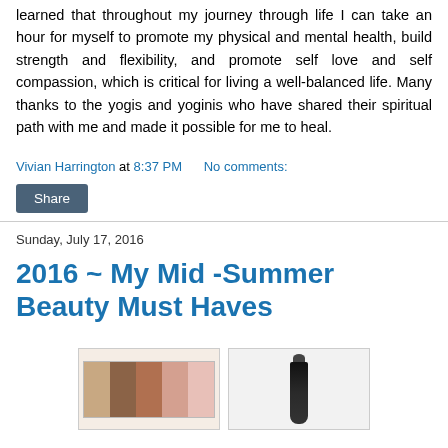learned that throughout my journey through life I can take an hour for myself to promote my physical and mental health, build strength and flexibility, and promote self love and self compassion, which is critical for living a well-balanced life. Many thanks to the yogis and yoginis who have shared their spiritual path with me and made it possible for me to heal.
Vivian Harrington at 8:37 PM    No comments:
Share
Sunday, July 17, 2016
2016 ~ My Mid -Summer Beauty Must Haves
[Figure (photo): Two images side by side: left shows an eyeshadow palette with warm/neutral tones, right shows a black mascara tube.]